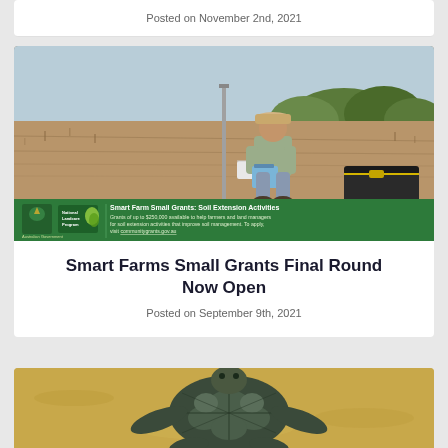Posted on November 2nd, 2021
[Figure (photo): Person crouching in a dry farm field taking notes on a clipboard next to a metal stake, with a black equipment bag visible on the right. A green banner overlay advertises 'Smart Farm Small Grants: Soil Extension Activities' from the Australian Government National Landcare Program.]
Smart Farms Small Grants Final Round Now Open
Posted on September 9th, 2021
[Figure (photo): Close-up photo of a sea turtle on sandy ground, partially visible at the bottom of the page.]